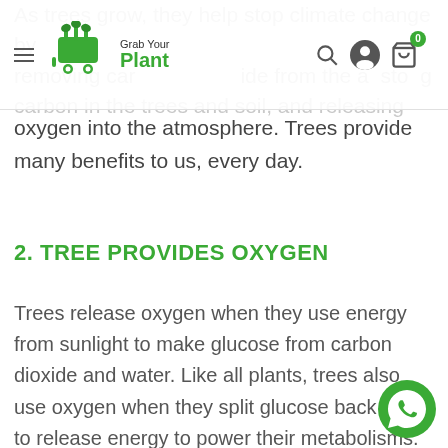Grab Your Plant — navigation bar with logo, hamburger menu, search, user, and cart icons
As trees grow, they help stop climate change by removing carbon dioxide from the atmosphere, storing carbon in the trees and soil, and releasing oxygen into the atmosphere. Trees provide many benefits to us, every day.
2. TREE PROVIDES OXYGEN
Trees release oxygen when they use energy from sunlight to make glucose from carbon dioxide and water. Like all plants, trees also use oxygen when they split glucose back down to release energy to power their metabolisms.